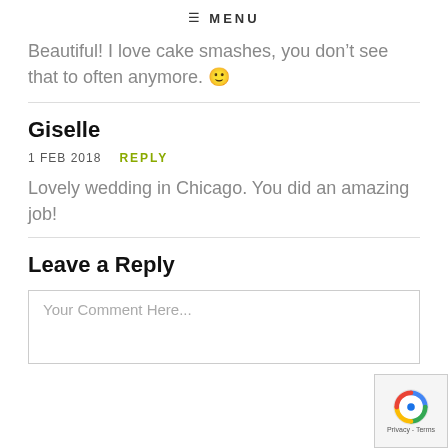≡ MENU
Beautiful! I love cake smashes, you don't see that to often anymore. 🙂
Giselle
1 FEB 2018   REPLY
Lovely wedding in Chicago. You did an amazing job!
Leave a Reply
Your Comment Here...